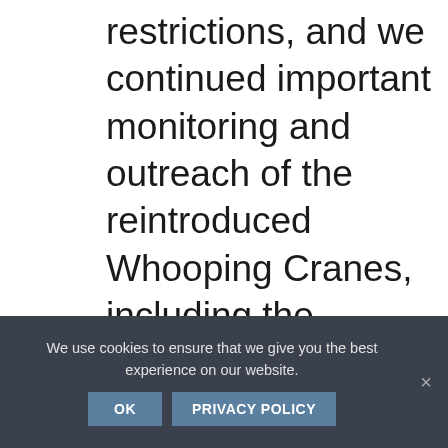restrictions, and we continued important monitoring and outreach of the reintroduced Whooping Cranes, including the capture and marking of four wild-hatched chicks we followed on migration. We completed our renovations, and our stunning new exhibits will dazzle visitors this
We use cookies to ensure that we give you the best experience on our website.